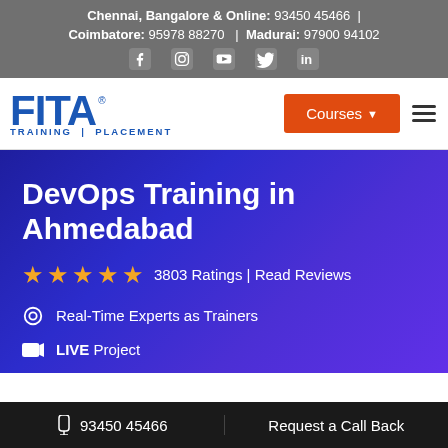Chennai, Bangalore & Online: 93450 45466 | Coimbatore: 95978 88270 | Madurai: 97900 94102
[Figure (logo): FITA Training | Placement logo in blue]
Courses
DevOps Training in Ahmedabad
3803 Ratings | Read Reviews
Real-Time Experts as Trainers
LIVE Project
93450 45466 | Request a Call Back